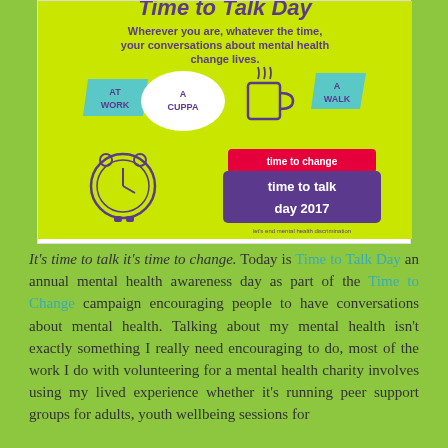[Figure (infographic): Time to Talk Day 2017 infographic on lime green background. Shows speech bubbles saying 'At Work', 'A Cuppa', 'A Walk', a drawing of a mug, an alarm clock. Text reads: 'Wherever you are, whatever the time, your conversations about mental health change lives.' Branding shows 'time to change' and 'time to talk day 2017' with tagline 'let's end mental health discrimination'.]
It's time to talk it's time to change. Today is Time to Talk Day an annual mental health awareness day as part of the Time to Change campaign encouraging people to have conversations about mental health. Talking about my mental health isn't exactly something I really need encouraging to do, most of the work I do with volunteering for a mental health charity involves using my lived experience whether it's running peer support groups for adults, youth wellbeing sessions for